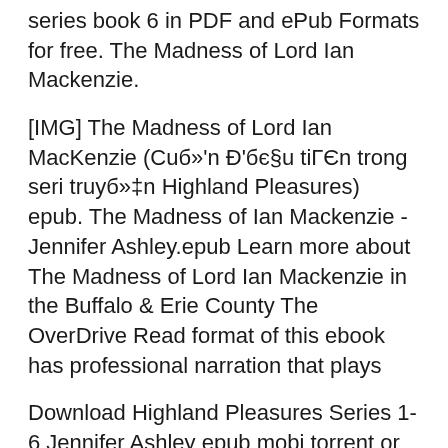series book 6 in PDF and ePub Formats for free. The Madness of Lord Ian Mackenzie.
[IMG] The Madness of Lord Ian MacKenzie (Cuб»'n Đ'бє§u tiГЄn trong seri truyб»‡n Highland Pleasures) epub. The Madness of Ian Mackenzie - Jennifer Ashley.epub Learn more about The Madness of Lord Ian Mackenzie in the Buffalo & Erie County The OverDrive Read format of this ebook has professional narration that plays
Download Highland Pleasures Series 1-6 Jennifer Ashley epub mobi torrent or any other torrent from Fiction category. The Madness of Lord Ian Mackenzie*1 Alec MackenzieвЂ™s Art of Seduction by whose story begins with The